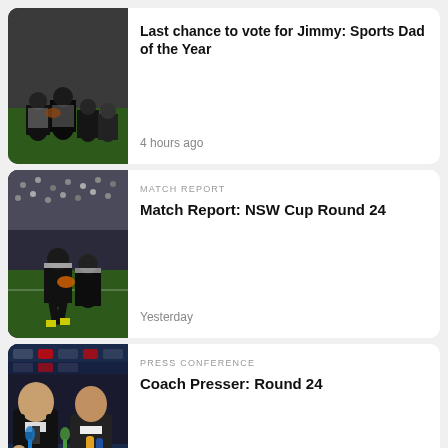[Figure (photo): Group of people in sports uniforms on a field]
Last chance to vote for Jimmy: Sports Dad of the Year
4 hours ago
[Figure (photo): Rugby players in action on field]
MATCH REPORT
Match Report: NSW Cup Round 24
Yesterday
[Figure (photo): Press conference with coach and player, video duration 07:12]
PRESS CONFERENCE
Coach Presser: Round 24
Yesterday
[Figure (photo): Dark background with decorative artwork bottom section]